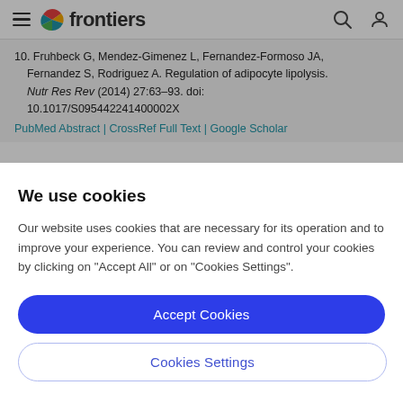frontiers
10. Fruhbeck G, Mendez-Gimenez L, Fernandez-Formoso JA, Fernandez S, Rodriguez A. Regulation of adipocyte lipolysis. Nutr Res Rev (2014) 27:63–93. doi: 10.1017/S095442241400002X
PubMed Abstract | CrossRef Full Text | Google Scholar
We use cookies
Our website uses cookies that are necessary for its operation and to improve your experience. You can review and control your cookies by clicking on "Accept All" or on "Cookies Settings".
Accept Cookies
Cookies Settings